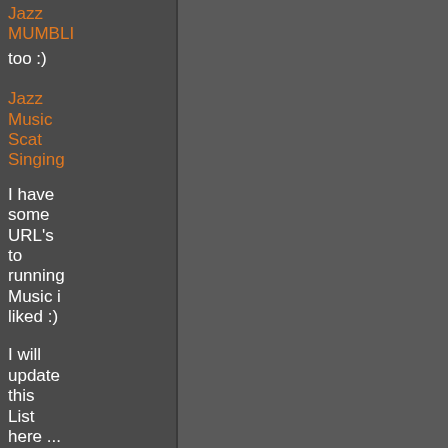Jazz MUMBLI too :)
Jazz Music Scat Singing
I have some URL's to running Music i liked :)
I will update this List here ...
This song i like was just secound ago :))